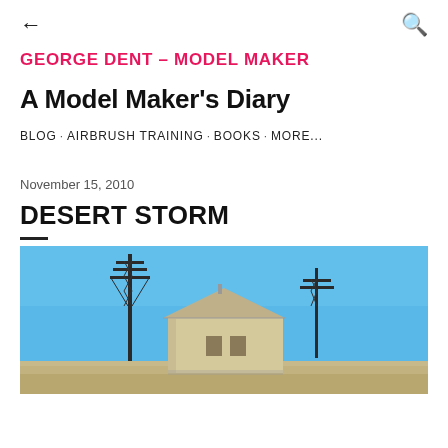← (back) | 🔍 (search)
GEORGE DENT - MODEL MAKER
A Model Maker's Diary
BLOG · AIRBRUSH TRAINING · BOOKS · MORE...
November 15, 2010
DESERT STORM
[Figure (photo): A scale model diorama of a desert scene with two telegraph/electricity pylons, a building with a peaked roof, set against a bright blue sky background.]